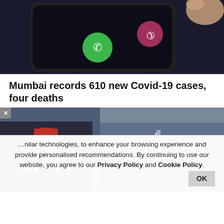[Figure (photo): Close-up of a smartphone screen showing an incoming call with green accept and red decline buttons, with a hand reaching toward the phone]
Mumbai records 610 new Covid-19 cases, four deaths
[Figure (photo): News article image showing a person in a medical/vaccine context with blue gloved hand holding a syringe, overlaid with a popup image of a politician in a red cap speaking at a podium]
…milar technologies, to enhance your browsing experience and provide personalised recommendations. By continuing to use our website, you agree to our Privacy Policy and Cookie Policy.